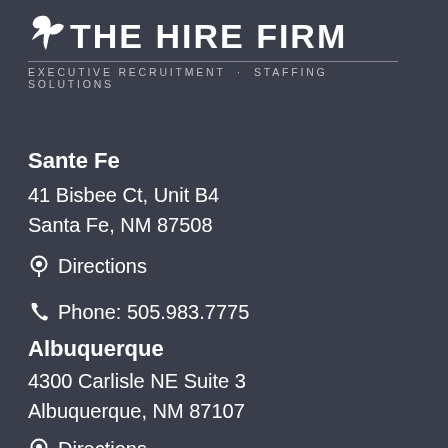[Figure (logo): The Hire Firm logo with bird icon and tagline 'Executive Recruitment · Staffing Solutions']
Sante Fe
41 Bisbee Ct, Unit B4
Santa Fe, NM 87508
⊙ Directions
Phone: 505.983.7775
Albuquerque
4300 Carlisle NE Suite 3
Albuquerque, NM 87107
⊙ Directions
Phone: 505.884.0068